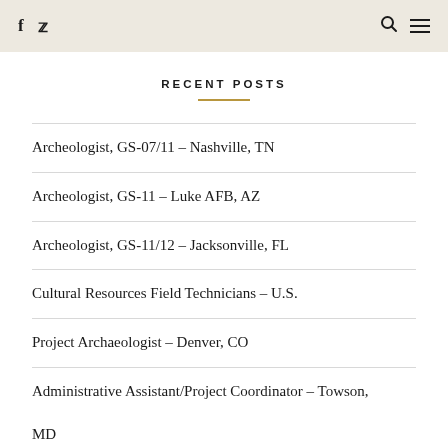f  Twitter  Search  Menu
RECENT POSTS
Archeologist, GS-07/11 – Nashville, TN
Archeologist, GS-11 – Luke AFB, AZ
Archeologist, GS-11/12 – Jacksonville, FL
Cultural Resources Field Technicians – U.S.
Project Archaeologist – Denver, CO
Administrative Assistant/Project Coordinator – Towson, MD
Archaeological Technicians – Seattle, Portland, Eugene,